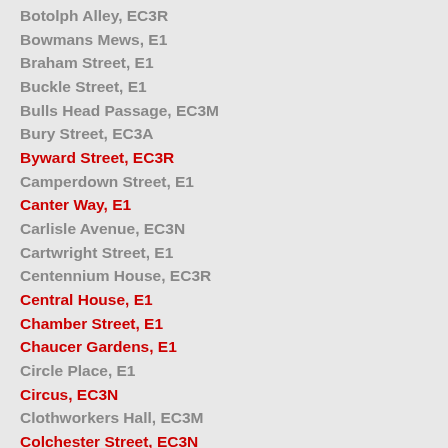Botolph Alley, EC3R
Bowmans Mews, E1
Braham Street, E1
Buckle Street, E1
Bulls Head Passage, EC3M
Bury Street, EC3A
Byward Street, EC3R
Camperdown Street, E1
Canter Way, E1
Carlisle Avenue, EC3N
Cartwright Street, E1
Centennium House, EC3R
Central House, E1
Chamber Street, E1
Chaucer Gardens, E1
Circle Place, E1
Circus, EC3N
Clothworkers Hall, EC3M
Colchester Street, EC3N